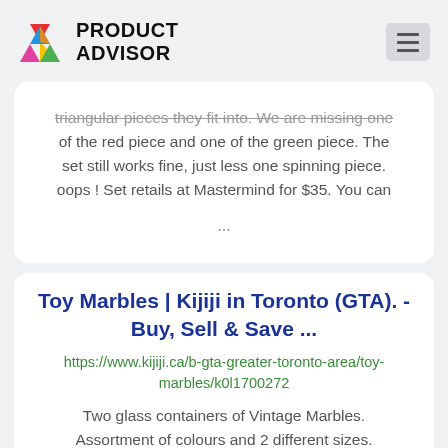PRODUCT ADVISOR
triangular pieces they fit into. We are missing one of the red piece and one of the green piece. The set still works fine, just less one spinning piece. oops ! Set retails at Mastermind for $35. You can ...
Toy Marbles | Kijiji in Toronto (GTA). - Buy, Sell & Save ...
https://www.kijiji.ca/b-gta-greater-toronto-area/toy-marbles/k0l1700272
Two glass containers of Vintage Marbles. Assortment of colours and 2 different sizes.